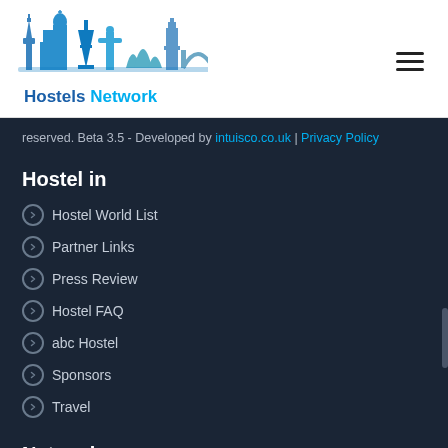[Figure (logo): Hostels Network logo with illustrated world skyline in blue tones and text 'Hostels Network']
reserved. Beta 3.5 - Developed by intuisco.co.uk | Privacy Policy
Hostel in
Hostel World List
Partner Links
Press Review
Hostel FAQ
abc Hostel
Sponsors
Travel
Networks
WorldBestHostels.com